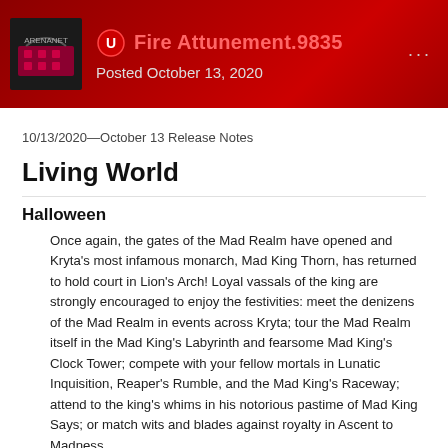Fire Attunement.9835 — Posted October 13, 2020
10/13/2020—October 13 Release Notes
Living World
Halloween
Once again, the gates of the Mad Realm have opened and Kryta's most infamous monarch, Mad King Thorn, has returned to hold court in Lion's Arch! Loyal vassals of the king are strongly encouraged to enjoy the festivities: meet the denizens of the Mad Realm in events across Kryta; tour the Mad Realm itself in the Mad King's Labyrinth and fearsome Mad King's Clock Tower; compete with your fellow mortals in Lunatic Inquisition, Reaper's Rumble, and the Mad King's Raceway; attend to the king's whims in his notorious pastime of Mad King Says; or match wits and blades against royalty in Ascent to Madness.
*Willing adventurers are encouraged to meet with Magister Tassi of the Durmand Priory in Lion's Arch for an exciting research opportunity. The Lunatic Court is also seeking to confirm disturbing rumors from Elona—